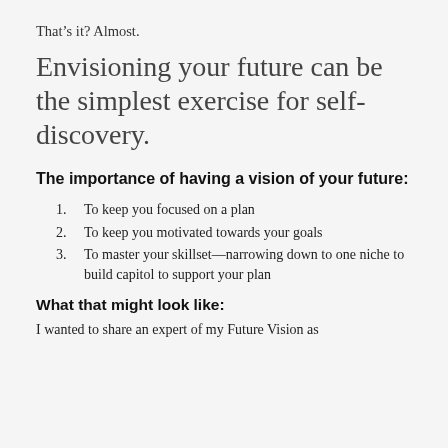That's it? Almost.
Envisioning your future can be the simplest exercise for self-discovery.
The importance of having a vision of your future:
To keep you focused on a plan
To keep you motivated towards your goals
To master your skillset—narrowing down to one niche to build capitol to support your plan
What that might look like:
I wanted to share an expert of my Future Vision as